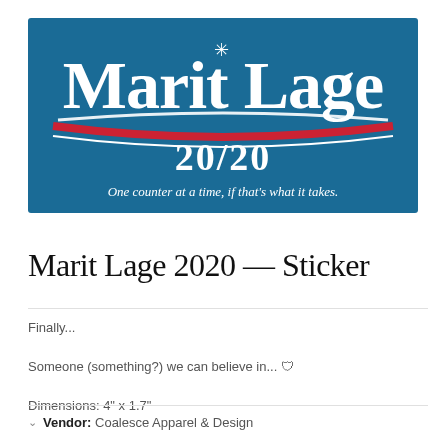[Figure (logo): Marit Lage 2020 campaign-style sticker with blue background, large white serif text 'Marit Lage', red and white swoosh lines, '20/20' in white below, and tagline 'One counter at a time, if that's what it takes.' in white italic text at bottom.]
Marit Lage 2020 — Sticker
Finally...

Someone (something?) we can believe in... 🛡

Dimensions: 4" x 1.7"
Vendor: Coalesce Apparel & Design